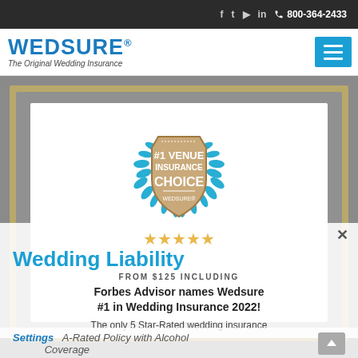f  t  ▶  in  📞 800-364-2433
WEDSURE® The Original Wedding Insurance
[Figure (logo): WEDSURE #1 Venue Insurance Choice badge/seal with laurel wreath and star rating imagery]
Wedding Liability
Forbes Advisor names Wedsure #1 in Wedding Insurance 2022!
The only 5 Star-Rated wedding insurance
FROM $125 INCLUDING
A-Rated Policy with Alcohol Coverage